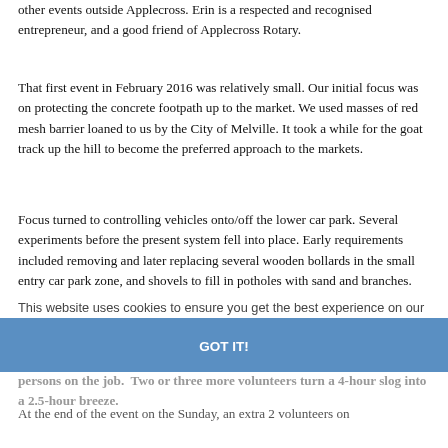other events outside Applecross. Erin is a respected and recognised entrepreneur, and a good friend of Applecross Rotary.
That first event in February 2016 was relatively small. Our initial focus was on protecting the concrete footpath up to the market. We used masses of red mesh barrier loaned to us by the City of Melville. It took a while for the goat track up the hill to become the preferred approach to the markets.
Focus turned to controlling vehicles onto/off the lower car park. Several experiments before the present system fell into place. Early requirements included removing and later replacing several wooden bollards in the small entry car park zone, and shovels to fill in potholes with sand and branches.
This website uses cookies to ensure you get the best experience on our website. Learn more
After over 5 years activity we have a proven set up. It takes about 14 "man-hours" to set up on the Saturday afternoon. A recurring problem is too few persons on the job. Two or three more volunteers turn a 4-hour slog into a 2.5-hour breeze.
GOT IT!
At the end of the event on the Sunday, an extra 2 volunteers on